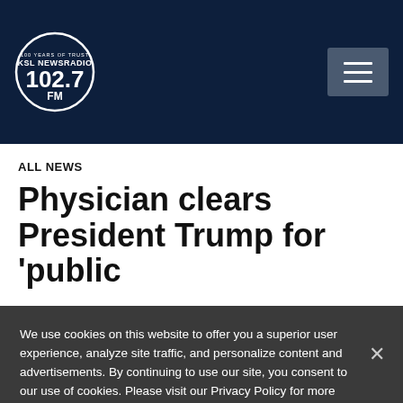KSL NewsRadio 102.7FM
ALL NEWS
Physician clears President Trump for 'public
We use cookies on this website to offer you a superior user experience, analyze site traffic, and personalize content and advertisements. By continuing to use our site, you consent to our use of cookies. Please visit our Privacy Policy for more information.